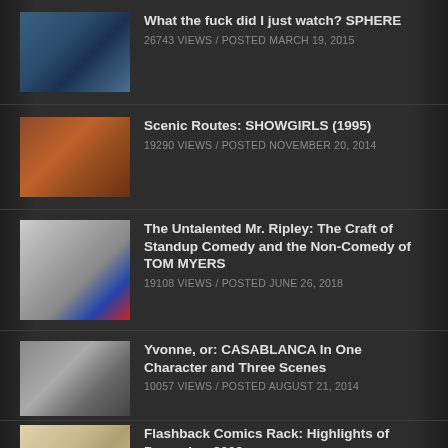What the fuck did I just watch? SPHERE
26743 VIEWS / POSTED MARCH 19, 2015
Scenic Routes: SHOWGIRLS (1995)
19290 VIEWS / POSTED NOVEMBER 20, 2014
The Untalented Mr. Ripley: The Craft of Standup Comedy and the Non-Comedy of TOM MYERS
19108 VIEWS / POSTED JUNE 26, 2018
Yvonne, or: CASABLANCA In One Character and Three Scenes
10057 VIEWS / POSTED AUGUST 21, 2014
Flashback Comics Rack: Highlights of December 2002
AUGUST 22, 2022 / SAM "BURGUNDY SUIT" SCOTT
Year of the Month: Quinn Bailey on JU-ON
AUGUST 22, 2022 / SAM "BURGUNDY SUIT" SCOTT